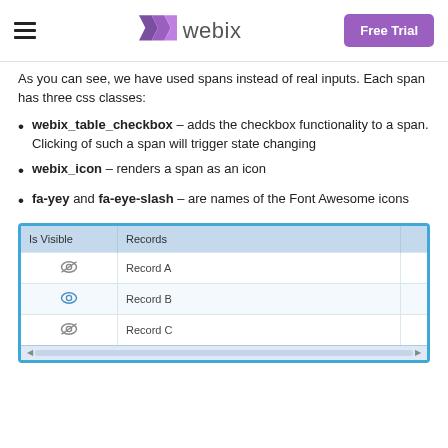webix — Free Trial
As you can see, we have used spans instead of real inputs. Each span has three css classes:
webix_table_checkbox – adds the checkbox functionality to a span. Clicking of such a span will trigger state changing
webix_icon – renders a span as an icon
fa-yey and fa-eye-slash – are names of the Font Awesome icons
[Figure (screenshot): Webix table screenshot showing Is Visible and Records columns with three rows: Record A, Record B, Record C, each with an eye icon in the Is Visible column]